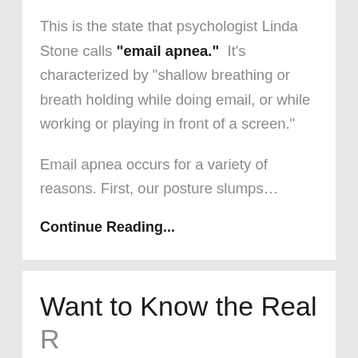This is the state that psychologist Linda Stone calls "email apnea."  It's characterized by "shallow breathing or breath holding while doing email, or while working or playing in front of a screen."
Email apnea occurs for a variety of reasons. First, our posture slumps…
Continue Reading...
Want to Know the Real